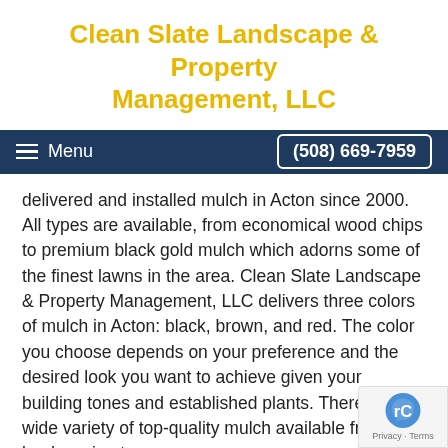Clean Slate Landscape & Property Management, LLC
Menu   (508) 669-7959
delivered and installed mulch in Acton since 2000. All types are available, from economical wood chips to premium black gold mulch which adorns some of the finest lawns in the area. Clean Slate Landscape & Property Management, LLC delivers three colors of mulch in Acton: black, brown, and red. The color you choose depends on your preference and the desired look you want to achieve given your building tones and established plants. There is a wide variety of top-quality mulch available from our landscaping team.
Available types of mulch for delivery in Acton in
Trail mix mulch